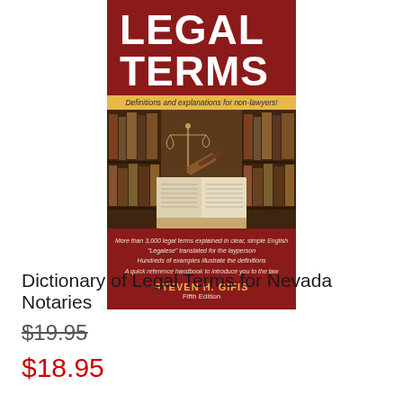[Figure (illustration): Book cover for 'Dictionary of Legal Terms' (Dictionary of Legal Terms for Nevada Notaries) by Steven H. Gifis, Fifth Edition. Dark red cover with large white text 'LEGAL TERMS', yellow subtitle bar 'Definitions and explanations for non-lawyers!', photo of scales of justice and gavel on open book in library setting, bullet points listing features, author name in gold, edition in white.]
Dictionary of Legal Terms for Nevada Notaries
$19.95
$18.95